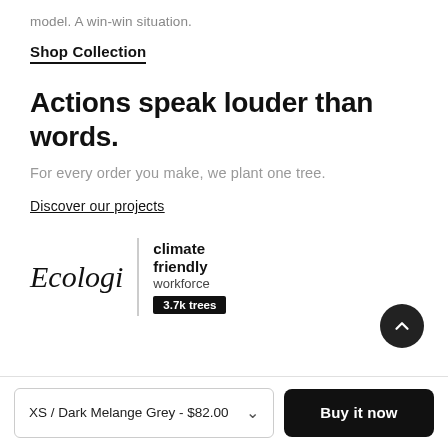model. A win-win situation.
Shop Collection
Actions speak louder than words.
For every order you make, we plant one tree.
Discover our projects
[Figure (logo): Ecologi climate friendly workforce badge showing 3.7k trees planted]
XS / Dark Melange Grey - $82.00
Buy it now